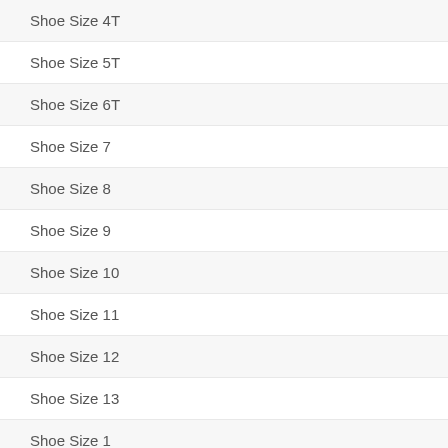Shoe Size 4T
Shoe Size 5T
Shoe Size 6T
Shoe Size 7
Shoe Size 8
Shoe Size 9
Shoe Size 10
Shoe Size 11
Shoe Size 12
Shoe Size 13
Shoe Size 1
Shoe Size 2
Shoe Size 3